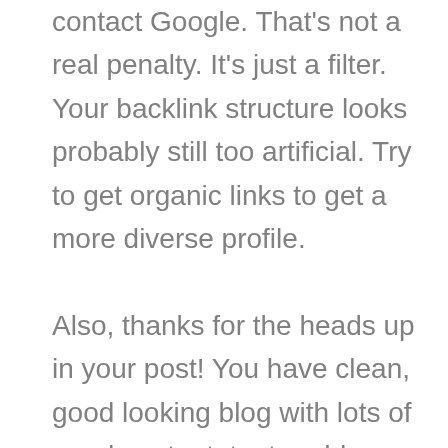contact Google. That's not a real penalty. It's just a filter. Your backlink structure looks probably still too artificial. Try to get organic links to get a more diverse profile.

Also, thanks for the heads up in your post! You have clean, good looking blog with lots of good content. try to add a more personal